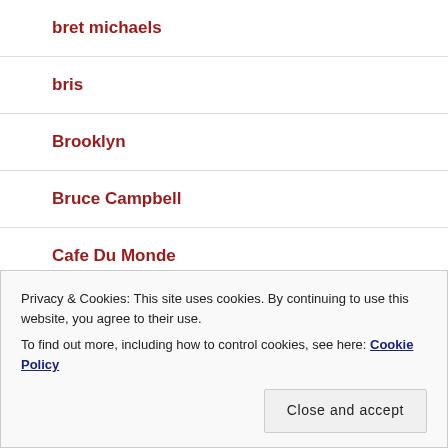bret michaels
bris
Brooklyn
Bruce Campbell
Cafe Du Monde
Calvert Cliffs
Privacy & Cookies: This site uses cookies. By continuing to use this website, you agree to their use.
To find out more, including how to control cookies, see here: Cookie Policy
Carlos Mencia